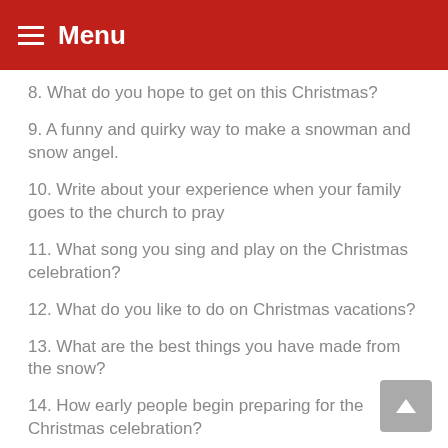Menu
8. What do you hope to get on this Christmas?
9. A funny and quirky way to make a snowman and snow angel.
10. Write about your experience when your family goes to the church to pray
11. What song you sing and play on the Christmas celebration?
12. What do you like to do on Christmas vacations?
13. What are the best things you have made from the snow?
14. How early people begin preparing for the Christmas celebration?